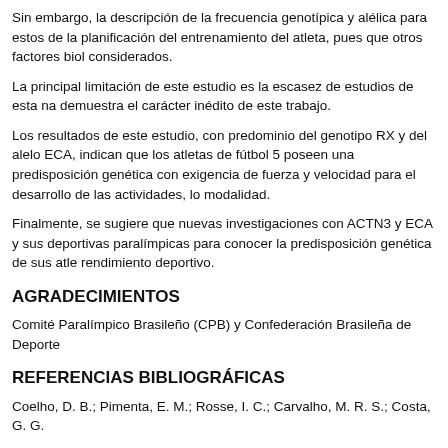Sin embargo, la descripción de la frecuencia genotípica y alélica para estos de la planificación del entrenamiento del atleta, pues que otros factores biol considerados.
La principal limitación de este estudio es la escasez de estudios de esta na demuestra el carácter inédito de este trabajo.
Los resultados de este estudio, con predominio del genotipo RX y del alelo ECA, indican que los atletas de fútbol 5 poseen una predisposición genética con exigencia de fuerza y velocidad para el desarrollo de las actividades, lo modalidad.
Finalmente, se sugiere que nuevas investigaciones con ACTN3 y ECA y sus deportivas paralímpicas para conocer la predisposición genética de sus atle rendimiento deportivo.
AGRADECIMIENTOS
Comité Paralímpico Brasileño (CPB) y Confederación Brasileña de Deporte
REFERENCIAS BIBLIOGRÁFICAS
Coelho, D. B.; Pimenta, E. M.; Rosse, I. C.; Carvalho, M. R. S.; Costa, G. G.